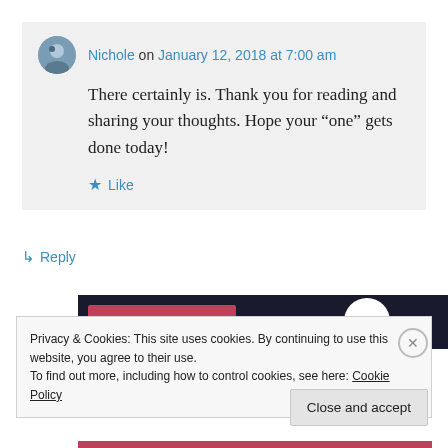Nichole on January 12, 2018 at 7:00 am
There certainly is. Thank you for reading and sharing your thoughts. Hope your “one” gets done today!
Like
Reply
[Figure (screenshot): Dark banner with pink bar and white circle partially visible]
Privacy & Cookies: This site uses cookies. By continuing to use this website, you agree to their use.
To find out more, including how to control cookies, see here: Cookie Policy
Close and accept